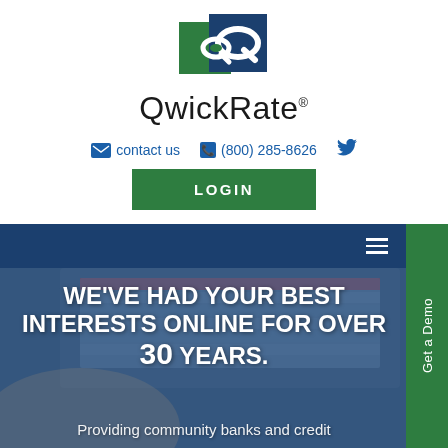[Figure (logo): QwickRate logo with green and blue overlapping Q shapes]
QwickRate®
✉ contact us  📞 (800) 285-8626  🐦
LOGIN
[Figure (screenshot): Navy navigation bar with hamburger menu and Get a Demo green tab on the right]
[Figure (photo): Blurred photo of a person typing on a computer showing a financial rate table]
WE'VE HAD YOUR BEST INTERESTS ONLINE FOR OVER 30 YEARS.
Providing community banks and credit